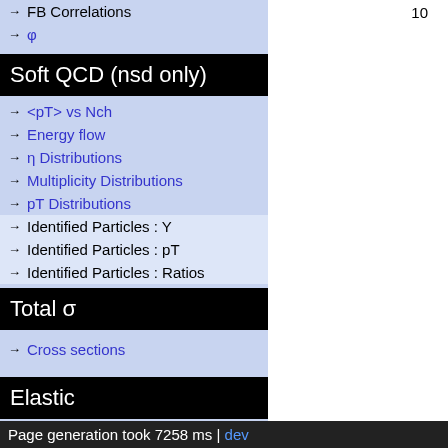→ FB Correlations
→ φ
Soft QCD (nsd only)
→ <pT> vs Nch
→ Energy flow
→ η Distributions
→ Multiplicity Distributions
→ pT Distributions
→ Identified Particles : Y
→ Identified Particles : pT
→ Identified Particles : Ratios
Total σ
→ Cross sections
Elastic
→ Cross sections
10
Page generation took 7258 ms | dev